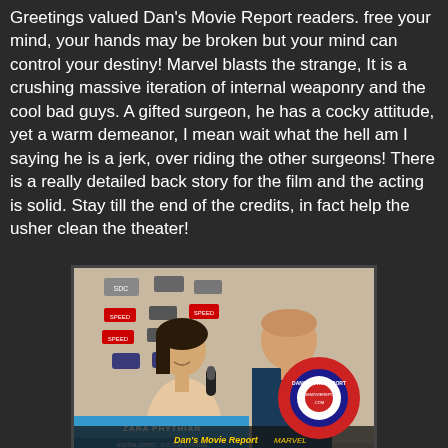Greetings valued Dan's Movie Report readers. free your mind, your hands may be broken but your mind can control your destiny! Marvel blasts the strange, It is a crushing massive iteration of internal weaponry and the cool bad guys. A gifted surgeon, he has a cocky attitude, yet a warm demeanor, I mean wait what the hell am I saying he is a jerk, over riding the other surgeons! There is a really detailed back story for the film and the acting is solid. Stay till the end of the credits, in fact help the usher clean the theater!
[Figure (photo): Video still of an interview at a red carpet event. A woman labeled 'ZARA PHYTHIAN' is being interviewed by a man holding a microphone. The Dan's Movie Report logo (circle with red/white/blue target design) appears in the lower right. Sponsor banners visible in the background.]